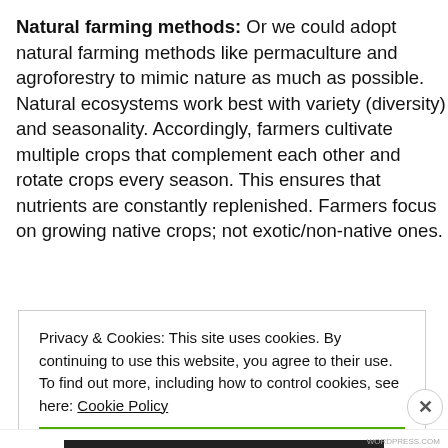Natural farming methods: Or we could adopt natural farming methods like permaculture and agroforestry to mimic nature as much as possible. Natural ecosystems work best with variety (diversity) and seasonality. Accordingly, farmers cultivate multiple crops that complement each other and rotate crops every season. This ensures that nutrients are constantly replenished. Farmers focus on growing native crops; not exotic/non-native ones.
Privacy & Cookies: This site uses cookies. By continuing to use this website, you agree to their use. To find out more, including how to control cookies, see here: Cookie Policy